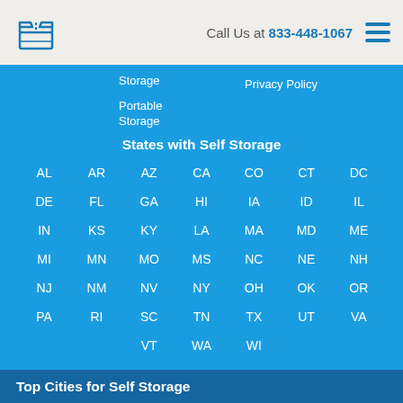[Figure (logo): Blue open box / storage company logo icon]
Call Us at 833-448-1067
Storage
Privacy Policy
Portable Storage
States with Self Storage
AL
AR
AZ
CA
CO
CT
DC
DE
FL
GA
HI
IA
ID
IL
IN
KS
KY
LA
MA
MD
ME
MI
MN
MO
MS
NC
NE
NH
NJ
NM
NV
NY
OH
OK
OR
PA
RI
SC
TN
TX
UT
VA
VT
WA
WI
Top Cities for Self Storage